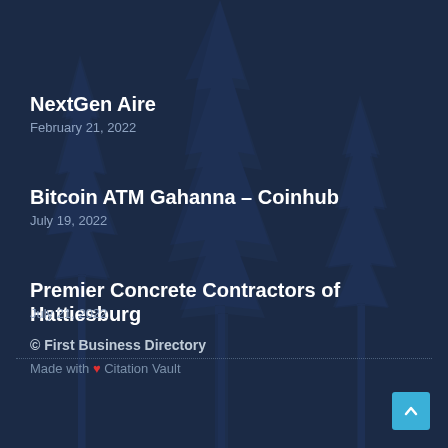NextGen Aire
February 21, 2022
Bitcoin ATM Gahanna – Coinhub
July 19, 2022
Premier Concrete Contractors of Hattiesburg
July 21, 2022
© First Business Directory
Made with ❤ Citation Vault